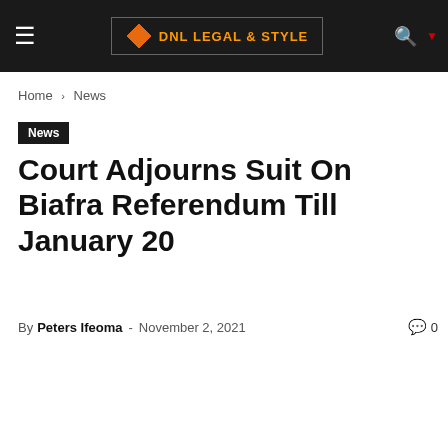DNL LEGAL & STYLE
Home › News
News
Court Adjourns Suit On Biafra Referendum Till January 20
By Peters Ifeoma - November 2, 2021  0